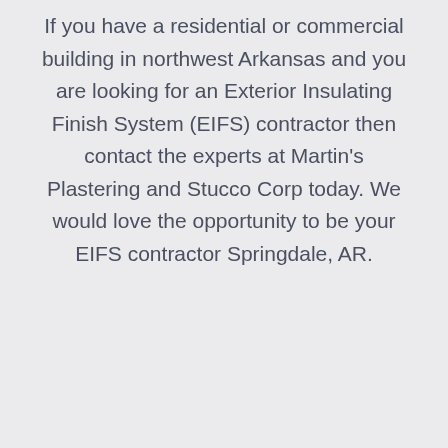If you have a residential or commercial building in northwest Arkansas and you are looking for an Exterior Insulating Finish System (EIFS) contractor then contact the experts at Martin's Plastering and Stucco Corp today. We would love the opportunity to be your EIFS contractor Springdale, AR.